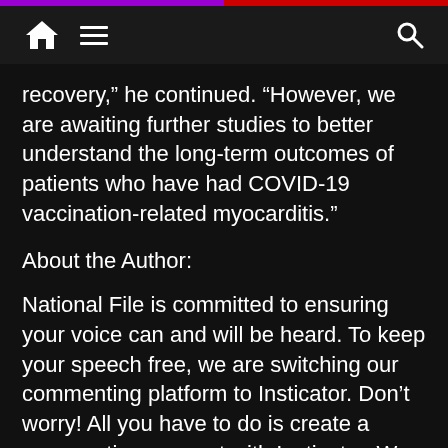Navigation bar with home, menu, and search icons
recovery,” he continued. “However, we are awaiting further studies to better understand the long-term outcomes of patients who have had COVID-19 vaccination-related myocarditis.”
About the Author:
National File is committed to ensuring your voice can and will be heard. To keep your speech free, we are switching our commenting platform to Insticator. Don’t worry! All you have to do is create a commenting account with Insticator. We will be transferring previous comments to our